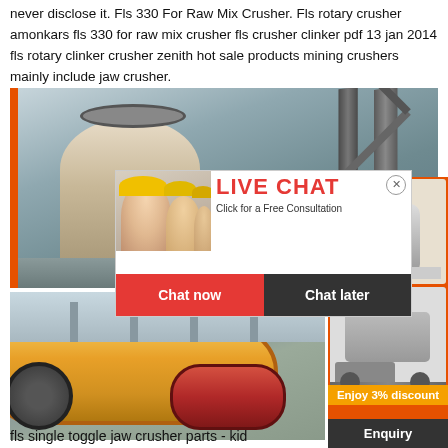never disclose it. Fls 330 For Raw Mix Crusher. Fls rotary crusher amonkars fls 330 for raw mix crusher fls crusher clinker pdf 13 jan 2014 fls rotary clinker crusher zenith hot sale products mining crushers mainly include jaw crusher.
[Figure (photo): Industrial cone crusher machinery in a factory setting with steel framework visible in background]
[Figure (screenshot): Live chat popup overlay with female worker in hard hat, Live Chat heading in red, 'Click for a Free Consultation' text, Chat now and Chat later buttons]
[Figure (infographic): Orange sidebar advertisement showing mining crusher machines, 'Enjoy 3% discount' in yellow, 'Click to Chat' in yellow on orange background]
[Figure (photo): Close-up photo of large yellow cylindrical ball mill or crusher parts with red roller visible]
fls single toggle jaw crusher parts - kid